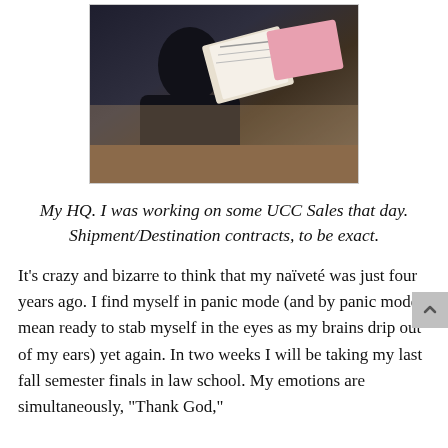[Figure (photo): A person wearing dark clothing sitting at a table with papers and a binder, appearing to study or work on documents.]
My HQ. I was working on some UCC Sales that day. Shipment/Destination contracts, to be exact.
It's crazy and bizarre to think that my naïveté was just four years ago. I find myself in panic mode (and by panic mode I mean ready to stab myself in the eyes as my brains drip out of my ears) yet again. In two weeks I will be taking my last fall semester finals in law school. My emotions are simultaneously, "Thank God,"